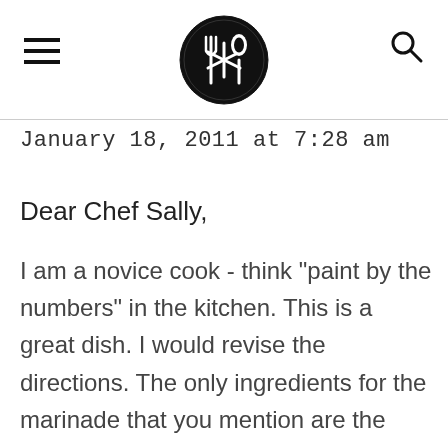Prescriptive Life [logo]
January 18, 2011 at 7:28 am
Dear Chef Sally,
I am a novice cook - think "paint by the numbers" in the kitchen. This is a great dish. I would revise the directions. The only ingredients for the marinade that you mention are the butter and almonds. I realized after I set the shrimp to marinade that I didnt add the amaretto, garlic, wine, and oil, so I went back. I find it really